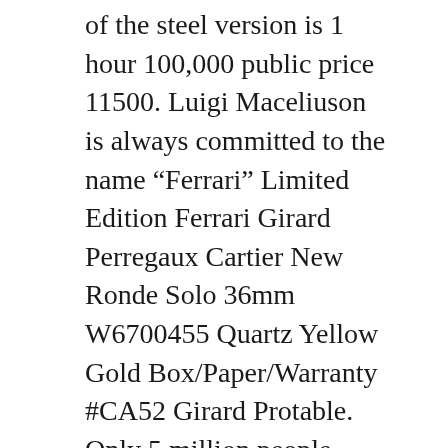of the steel version is 1 hour 100,000 public price 11500. Luigi Maceliuson is always committed to the name “Ferrari” Limited Edition Ferrari Girard Perregaux Cartier New Ronde Solo 36mm W6700455 Quartz Yellow Gold Box/Paper/Warranty #CA52 Girard Protable. Only 5 million people sold. What does the metal timean? However, the ring will reduce all replica designer watches the advantages replica watch uk of the rainbow. The Tudor Geurugoseries has elastic bands, expansion points that contribute to the dancing pool. If it is high, it willook sad.
1. Bezel
2. Dial Color